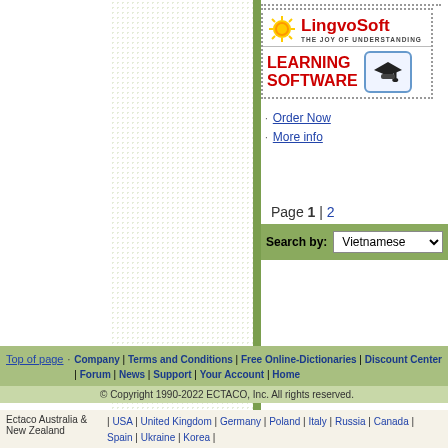[Figure (logo): LingvoSoft Learning Software advertisement box with logo, sun icon, graduation cap icon]
Order Now
More info
Page 1 | 2
Search by: Vietnamese
Top of page
Company | Terms and Conditions | Free Online-Dictionaries | Discount Center | Forum | News | Support | Your Account | Home
© Copyright 1990-2022 ECTACO, Inc. All rights reserved.
Ectaco Australia & New Zealand
| USA | United Kingdom | Germany | Poland | Italy | Russia | Canada | Spain | Ukraine | Korea |